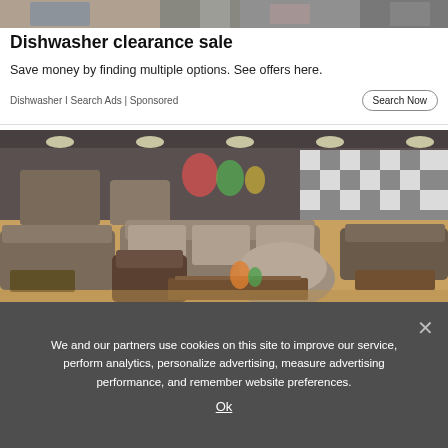[Figure (photo): Top banner strip showing partial view of clothing/fashion items]
Dishwasher clearance sale
Save money by finding multiple options. See offers here.
Dishwasher I Search Ads | Sponsored
[Figure (photo): Interior of a large furniture store showroom with sofas, armchairs, coffee tables, and decorative items on display under bright ceiling lights with checkered decor elements]
We and our partners use cookies on this site to improve our service, perform analytics, personalize advertising, measure advertising performance, and remember website preferences.
Ok